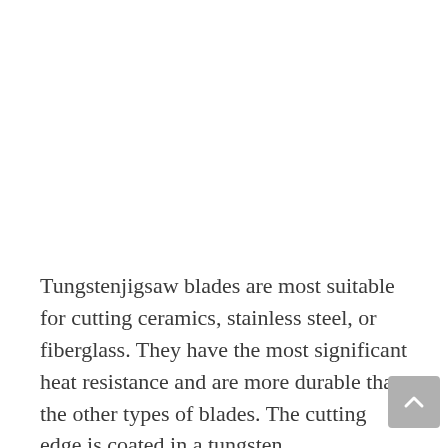Tungstenjigsaw blades are most suitable for cutting ceramics, stainless steel, or fiberglass. They have the most significant heat resistance and are more durable than the other types of blades. The cutting edge is coated in a tungsten